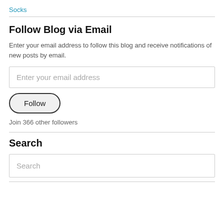Socks
Follow Blog via Email
Enter your email address to follow this blog and receive notifications of new posts by email.
Enter your email address
Follow
Join 366 other followers
Search
Search